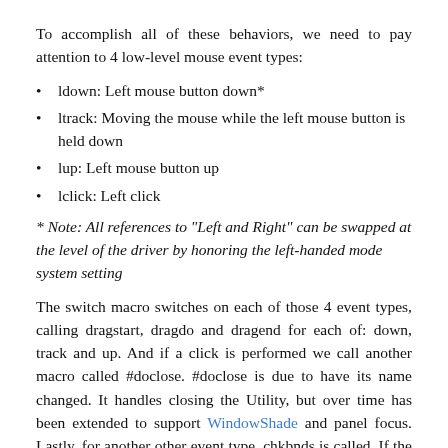To accomplish all of these behaviors, we need to pay attention to 4 low-level mouse event types:
ldown: Left mouse button down*
ltrack: Moving the mouse while the left mouse button is held down
lup: Left mouse button up
lclick: Left click
* Note: All references to "Left and Right" can be swapped at the level of the driver by honoring the left-handed mode system setting
The switch macro switches on each of those 4 event types, calling dragstart, dragdo and dragend for each of: down, track and up. And if a click is performed we call another macro called #doclose. #doclose is due to have its name changed. It handles closing the Utility, but over time has been extended to support WindowShade and panel focus. Lastly, for another other event type, chkbnds is called. If the event is within the bounds of